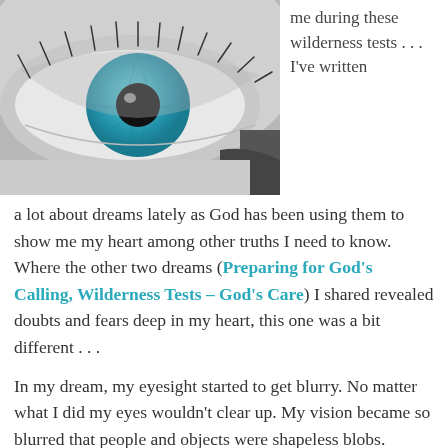[Figure (photo): Close-up black and white photo of a human eye with a striking blue iris, with eyelashes visible. The right side shows a blurred dark background.]
me during these wilderness tests . . . I've written a lot about dreams lately as God has been using them to show me my heart among other truths I need to know. Where the other two dreams (Preparing for God's Calling, Wilderness Tests – God's Care) I shared revealed doubts and fears deep in my heart, this one was a bit different . . .
In my dream, my eyesight started to get blurry. No matter what I did my eyes wouldn't clear up. My vision became so blurred that people and objects were shapeless blobs. Needless to say it made me anxious. At one point, I was holding my cousin's new baby and almost dropped him as I stumbled over a chair. Fortunately my aunt was there to brace me. After bumbling around for awhile here and there, it was time to get dressed for some formal...